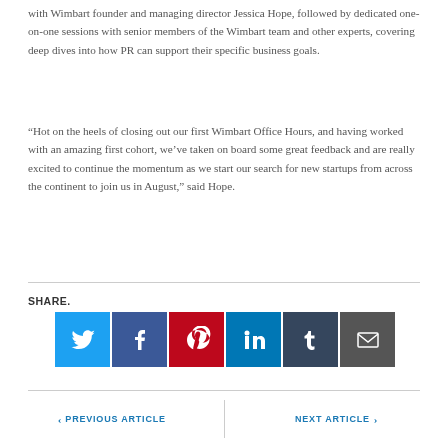with Wimbart founder and managing director Jessica Hope, followed by dedicated one-on-one sessions with senior members of the Wimbart team and other experts, covering deep dives into how PR can support their specific business goals.
“Hot on the heels of closing out our first Wimbart Office Hours, and having worked with an amazing first cohort, we’ve taken on board some great feedback and are really excited to continue the momentum as we start our search for new startups from across the continent to join us in August,” said Hope.
SHARE.
[Figure (infographic): Row of 6 social media share buttons: Twitter (blue), Facebook (dark blue), Pinterest (red), LinkedIn (blue), Tumblr (dark slate), Email (grey)]
PREVIOUS ARTICLE
NEXT ARTICLE